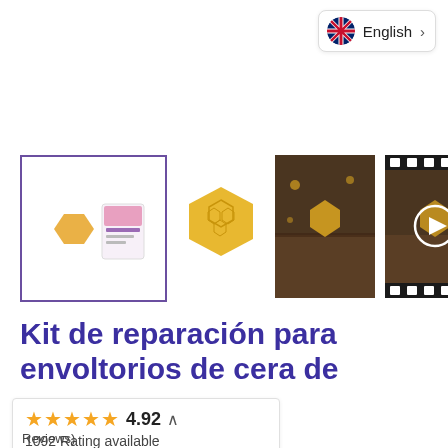[Figure (screenshot): Language selector button showing UK flag and text 'English' with a right chevron, in a white rounded-corner box]
[Figure (photo): Four product thumbnail images: first is main selected image with purple border showing two small beeswax pieces and a product card; second shows a single hexagonal beeswax piece on white background; third shows a darkened photo of beeswax pieces on wooden surface; fourth is a video thumbnail with filmstrip edges and a play button]
Kit de reparación para envoltorios de cera de
★★★★★ 4.92 ^ 1092 Rating available Reviews)